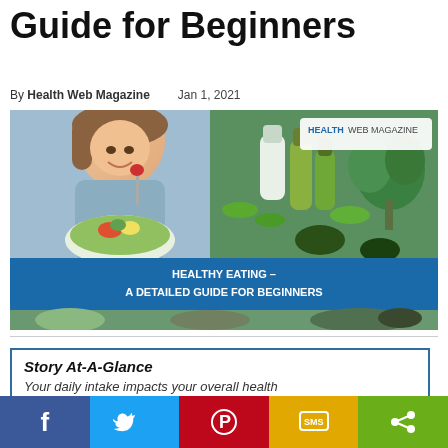Guide for Beginners
By Health Web Magazine   Jan 1, 2021
[Figure (photo): Hero image showing a smiling woman eating a salad with vegetables and healthy food, overlaid with blue banner reading 'HEALTHY EATING – A DETAILED GUIDE FOR BEGINNERS' and Health Web Magazine logo in top right corner.]
Story At-A-Glance
Your daily intake impacts your overall health